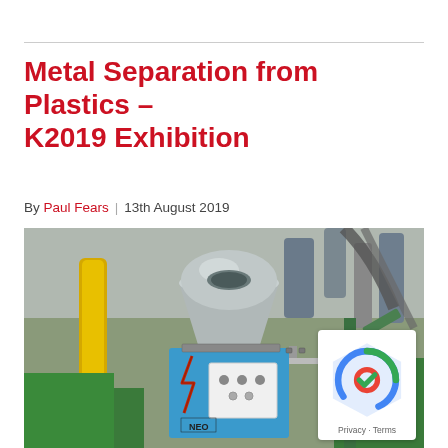Metal Separation from Plastics – K2019 Exhibition
By Paul Fears | 13th August 2019
[Figure (photo): Close-up photograph of a blue metal separator machine (branded NEO) with a silver hopper/funnel on top, mounted on a green injection moulding machine, with industrial pipes and machinery in the background.]